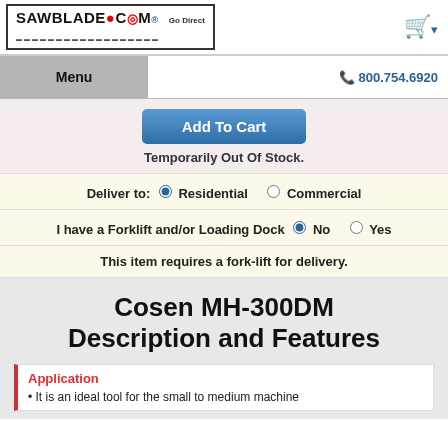[Figure (logo): SAWBLADE.COM Go Direct logo in a bordered box]
[Figure (other): Shopping cart icon with dropdown arrow]
Menu
800.754.6920
Add To Cart
Temporarily Out Of Stock.
Deliver to: Residential Commercial
I have a Forklift and/or Loading Dock No Yes
This item requires a fork-lift for delivery.
Cosen MH-300DM Description and Features
Application
It is an ideal tool for the small to medium machine